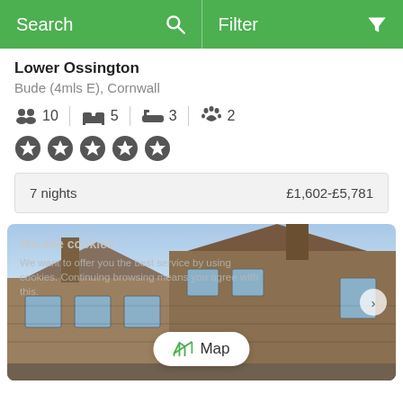Search   Filter
Lower Ossington
Bude (4mls E), Cornwall
10 guests  5 bedrooms  3 bathrooms  2 pets
5 star rating
7 nights   £1,602-£5,781
[Figure (photo): Stone cottage building exterior with chimneys and blue sky, with a cookie consent overlay and a Map button]
We use cookies – We want to offer you the best service by using cookies. Continuing browsing means you agree with this.